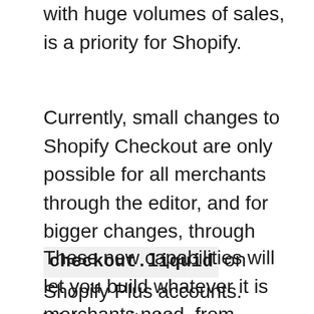with huge volumes of sales, is a priority for Shopify.
Currently, small changes to Shopify Checkout are only possible for all merchants through the editor, and for bigger changes, through checkout.liquid on Shopify Plus accounts. We're excited to announce that soon, we'll be making it possible to extend checkout through apps for everyone.
These new capabilities will let you build whatever it is merchants need, from simple customizations, all the way to complex user interfaces (UI) and business logic. This update